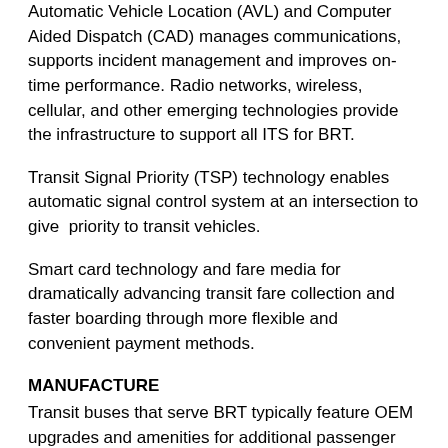Automatic Vehicle Location (AVL) and Computer Aided Dispatch (CAD) manages communications, supports incident management and improves on-time performance. Radio networks, wireless, cellular, and other emerging technologies provide the infrastructure to support all ITS for BRT.
Transit Signal Priority (TSP) technology enables automatic signal control system at an intersection to give priority to transit vehicles.
Smart card technology and fare media for dramatically advancing transit fare collection and faster boarding through more flexible and convenient payment methods.
MANUFACTURE
Transit buses that serve BRT typically feature OEM upgrades and amenities for additional passenger comfort and convenience to support longer routes and faster boarding, as well as distinct branding and graphics to identify and help